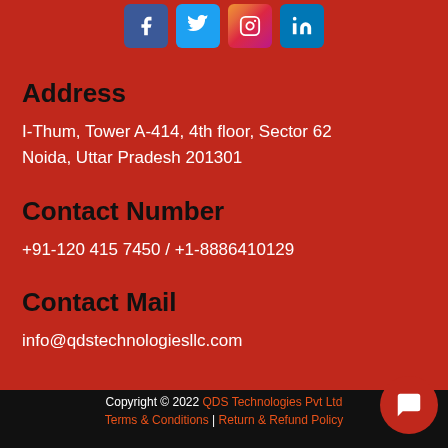[Figure (other): Social media icons for Facebook, Twitter, Instagram, LinkedIn]
Address
I-Thum, Tower A-414, 4th floor, Sector 62
Noida, Uttar Pradesh 201301
Contact Number
+91-120 415 7450 / +1-8886410129
Contact Mail
info@qdstechnologiesllc.com
Copyright © 2022 QDS Technologies Pvt Ltd
Terms & Conditions | Return & Refund Policy